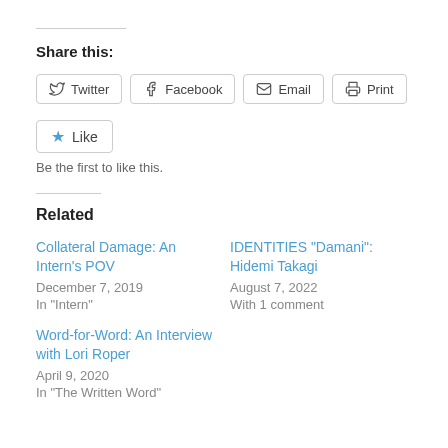Share this:
Twitter
Facebook
Email
Print
Like
Be the first to like this.
Related
Collateral Damage: An Intern's POV
December 7, 2019
In "Intern"
IDENTITIES “Damani”: Hidemi Takagi
August 7, 2022
With 1 comment
Word-for-Word: An Interview with Lori Roper
April 9, 2020
In "The Written Word"